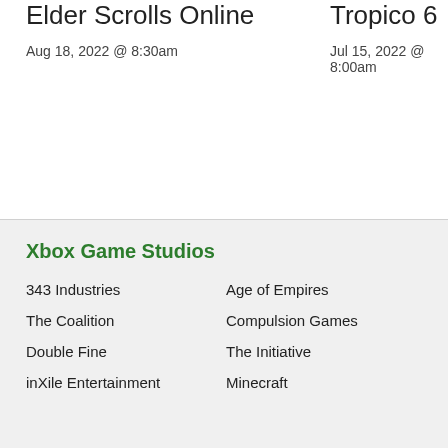Elder Scrolls Online
Aug 18, 2022 @ 8:30am
Tropico 6
Jul 15, 2022 @ 8:00am
Xbox Game Studios
343 Industries
Age of Empires
The Coalition
Compulsion Games
Double Fine
The Initiative
inXile Entertainment
Minecraft